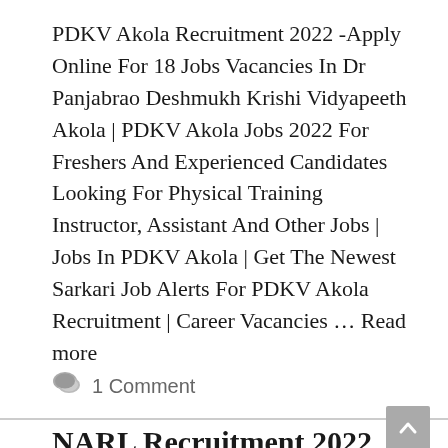PDKV Akola Recruitment 2022 -Apply Online For 18 Jobs Vacancies In Dr Panjabrao Deshmukh Krishi Vidyapeeth Akola | PDKV Akola Jobs 2022 For Freshers And Experienced Candidates Looking For Physical Training Instructor, Assistant And Other Jobs | Jobs In PDKV Akola | Get The Newest Sarkari Job Alerts For PDKV Akola Recruitment | Career Vacancies … Read more
1 Comment
NARL Recruitment 2022 Apply